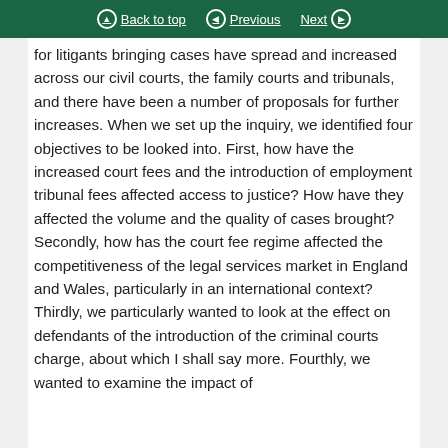Back to top | Previous | Next
for litigants bringing cases have spread and increased across our civil courts, the family courts and tribunals, and there have been a number of proposals for further increases. When we set up the inquiry, we identified four objectives to be looked into. First, how have the increased court fees and the introduction of employment tribunal fees affected access to justice? How have they affected the volume and the quality of cases brought? Secondly, how has the court fee regime affected the competitiveness of the legal services market in England and Wales, particularly in an international context? Thirdly, we particularly wanted to look at the effect on defendants of the introduction of the criminal courts charge, about which I shall say more. Fourthly, we wanted to examine the impact of